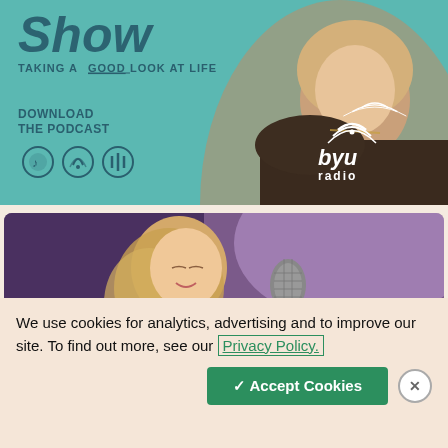[Figure (photo): BYU Radio podcast advertisement showing a woman with blonde hair and a leopard print top against a teal background. Text reads 'Show TAKING A GOOD LOOK AT LIFE', 'DOWNLOAD THE PODCAST' with podcast icons (Spotify, Apple Podcasts, Google Podcasts), and BYU radio logo with wifi arc symbol.]
[Figure (photo): A young blonde woman singing with eyes closed in front of a microphone, purple background in a recording studio setting.]
We use cookies for analytics, advertising and to improve our site. To find out more, see our Privacy Policy.
✓ Accept Cookies